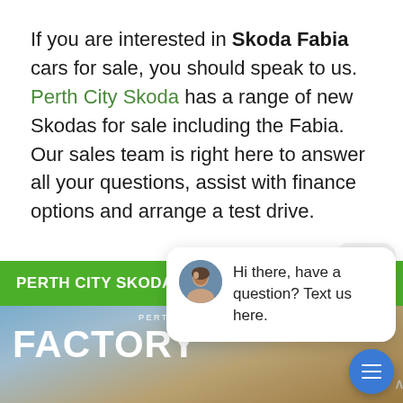If you are interested in Skoda Fabia cars for sale, you should speak to us. Perth City Skoda has a range of new Skodas for sale including the Fabia. Our sales team is right here to answer all your questions, assist with finance options and arrange a test drive.
[Figure (screenshot): Screenshot of a website section showing a green bar with 'PERTH CITY SKODA OFFERS', a close button, a chat popup with an avatar and text 'Hi there, have a question? Text us here.', an image area with 'PERTH CITY ŠKODA'S FACTORY' text, a blue chat FAB button, and a black bottom bar with 'DISCOVER MORE +' in green.]